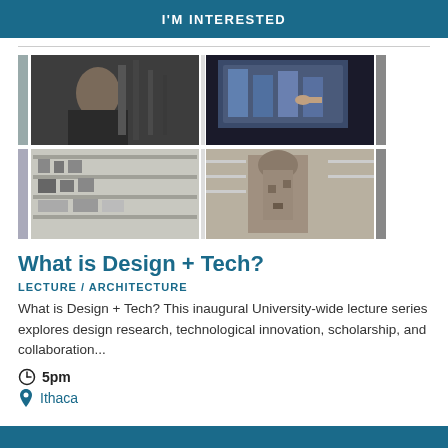I'M INTERESTED
[Figure (photo): Grid of four photos showing design and technology lab scenes: person with equipment, hand pointing at screen, shelves with objects, sculptural object in workshop]
What is Design + Tech?
LECTURE / ARCHITECTURE
What is Design + Tech? This inaugural University-wide lecture series explores design research, technological innovation, scholarship, and collaboration...
5pm
Ithaca